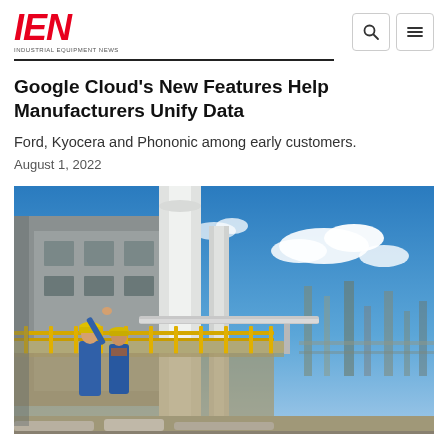IEN INDUSTRIAL EQUIPMENT NEWS
Google Cloud's New Features Help Manufacturers Unify Data
Ford, Kyocera and Phononic among early customers.
August 1, 2022
[Figure (photo): Two workers in blue coveralls and yellow hard hats standing on an industrial platform with yellow railings at a manufacturing/refinery facility, with blue sky and clouds in the background and industrial equipment and smokestacks visible.]